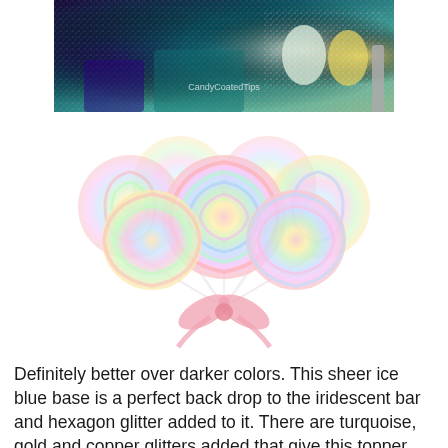[Figure (photo): Photo of glittery nail polish bottles and nail swatches showing holographic and iridescent glitter in purple, teal, silver, and gold tones. Watermark reads CandyCoatedTips.]
[Figure (photo): Photo of pastel rainbow swirl lollipops bundled together with a pink ribbon bow, on a white background.]
Definitely better over darker colors. This sheer ice blue base is a perfect back drop to the iridescent bar and hexagon glitter added to it. There are turquoise, gold and copper glitters added that give this topper added depth.